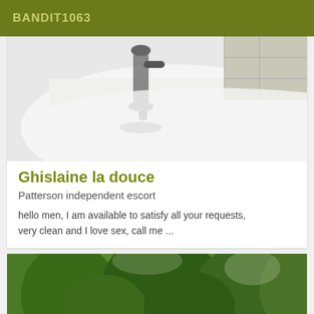BANDIT1063
[Figure (photo): Photo of a bathroom faucet/tap over a white sink or bathtub, with tiled wall visible in the background]
Ghislaine la douce
Patterson independent escort
hello men, I am available to satisfy all your requests, very clean and I love sex, call me ...
[Figure (photo): Photo of lush green trees and foliage, with a wooden fence visible at the bottom]